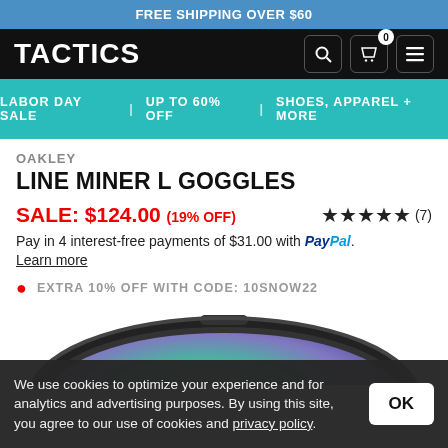FREE SHIPPING OVER $60
[Figure (logo): TACTICS logo in white on black navbar with search, cart (0), and menu icons]
LABOR DAY SALE  |  UP TO 60% OFF  |  SHOES, APPAREL + MORE
OAKLEY
LINE MINER L GOGGLES
SALE: $124.00 (19% OFF)  ★★★★★ (7)
Pay in 4 interest-free payments of $31.00 with PayPal. Learn more
● EXTRA 10% OFF WITH CODE: 10SNOW22
[Figure (photo): Oakley Line Miner L ski goggles with green/purple iridium lens, partial view from below]
We use cookies to optimize your experience and for analytics and advertising purposes. By using this site, you agree to our use of cookies and privacy policy.